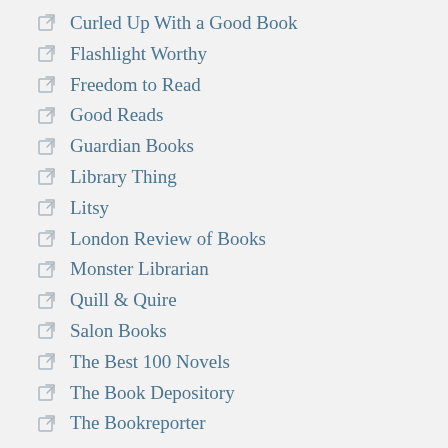Curled Up With a Good Book
Flashlight Worthy
Freedom to Read
Good Reads
Guardian Books
Library Thing
Litsy
London Review of Books
Monster Librarian
Quill & Quire
Salon Books
The Best 100 Novels
The Book Depository
The Bookreporter